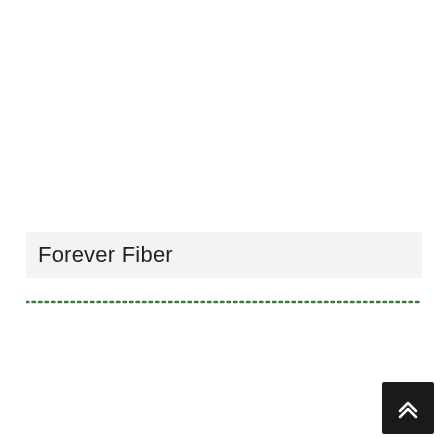Forever Fiber
[Figure (other): Dotted green horizontal rule separator line]
[Figure (other): Back-to-top button: dark square with white double chevron (up arrows)]